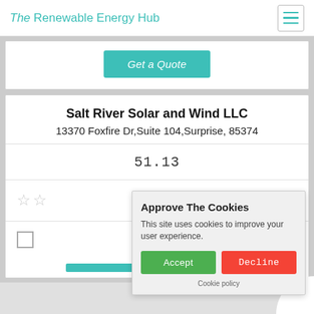The Renewable Energy Hub
Get a Quote
Salt River Solar and Wind LLC
13370 Foxfire Dr,Suite 104,Surprise, 85374
51.13
[Figure (other): Star rating row showing 2 empty/outline stars]
[Figure (other): Checkbox input element]
Approve The Cookies
This site uses cookies to improve your user experience.
Accept   Decline
Cookie policy